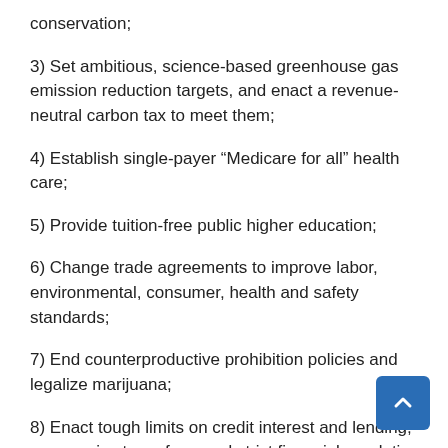conservation;
3) Set ambitious, science-based greenhouse gas emission reduction targets, and enact a revenue-neutral carbon tax to meet them;
4) Establish single-payer “Medicare for all” health care;
5) Provide tuition-free public higher education;
6) Change trade agreements to improve labor, environmental, consumer, health and safety standards;
7) End counterproductive prohibition policies and legalize marijuana;
8) Enact tough limits on credit interest and lending, progressive tax reform and strict financial regulation